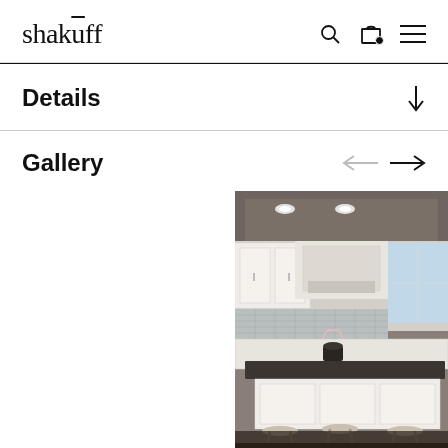shakūff
Details
Gallery
[Figure (photo): Interior kitchen photo showing white cabinetry, a large kitchen island with dark countertop and bar stools, recessed lighting, a range hood, subway tile backsplash, and a window with natural light. Elegant traditional style kitchen.]